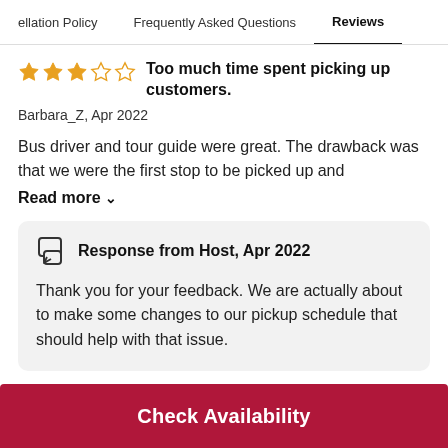ellation Policy   Frequently Asked Questions   Reviews
Too much time spent picking up customers.
Barbara_Z, Apr 2022
Bus driver and tour guide were great. The drawback was that we were the first stop to be picked up and
Read more
Response from Host, Apr 2022
Thank you for your feedback. We are actually about to make some changes to our pickup schedule that should help with that issue.
Check Availability